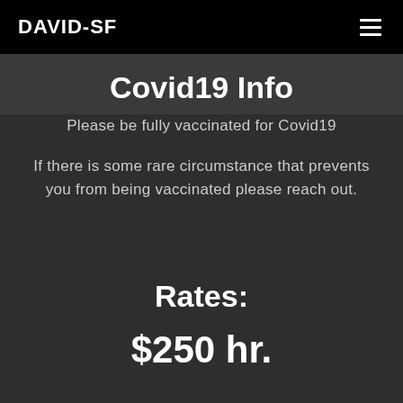DAVID-SF
Covid19 Info
Please be fully vaccinated for Covid19
If there is some rare circumstance that prevents you from being vaccinated please reach out.
Rates:
$250 hr.